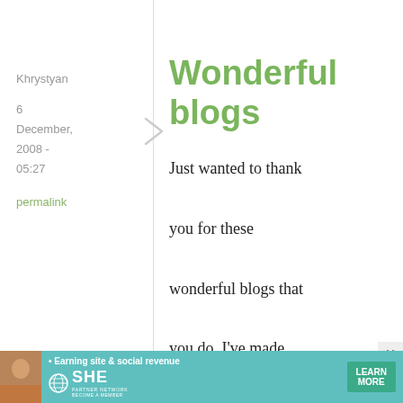Khrystyan
6 December, 2008 - 05:27
permalink
Wonderful blogs
Just wanted to thank you for these wonderful blogs that you do. I've made many things from them, easily and quickly, thanks to you, Maki
[Figure (infographic): Advertisement banner for SHE Partner Network with text: Earning site & social revenue, SHE, PARTNER NETWORK, BECOME A MEMBER, LEARN MORE button]